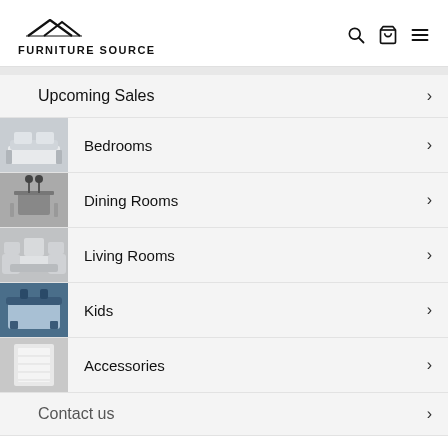[Figure (logo): Furniture Source logo with house roof icon above text FURNITURE SOURCE]
Upcoming Sales
Bedrooms
Dining Rooms
Living Rooms
Kids
Accessories
Contact us